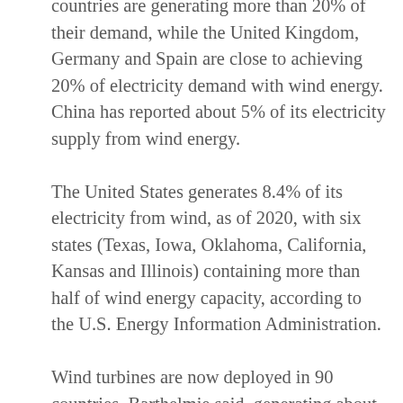countries are generating more than 20% of their demand, while the United Kingdom, Germany and Spain are close to achieving 20% of electricity demand with wind energy. China has reported about 5% of its electricity supply from wind energy.
The United States generates 8.4% of its electricity from wind, as of 2020, with six states (Texas, Iowa, Oklahoma, California, Kansas and Illinois) containing more than half of wind energy capacity, according to the U.S. Energy Information Administration.
Wind turbines are now deployed in 90 countries, Barthelmie said, generating about 7% of global electricity, and the expansion of installed capacity of wind energy continues.
Sectors like solar and wind have become less expensive than fossil fuels. “So there really aren’t any arguments